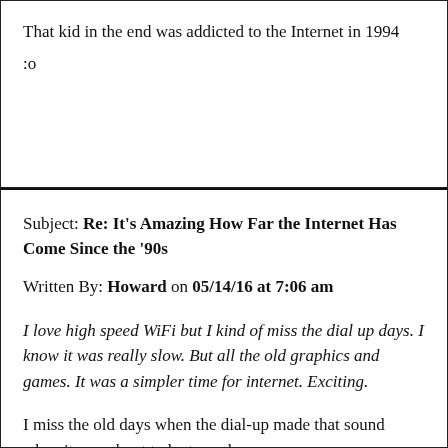That kid in the end was addicted to the Internet in 1994
:o
Subject: Re: It's Amazing How Far the Internet Has Come Since the '90s
Written By: Howard on 05/14/16 at 7:06 am
I love high speed WiFi but I kind of miss the dial up days. I know it was really slow. But all the old graphics and games. It was a simpler time for internet. Exciting.
I miss the old days when the dial-up made that sound when it was about to be turned on.
http://www.youtube.com/watch?v=gsNaR6FRuO0